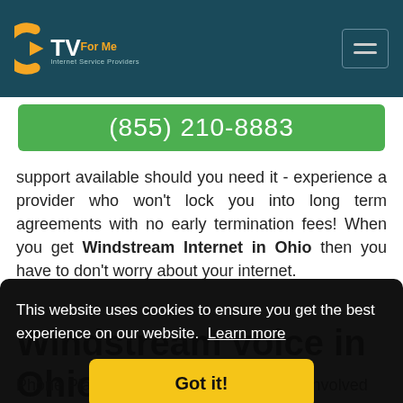CTV For Me - Internet Service Providers
(855) 210-8883
support available should you need it - experience a provider who won't lock you into long term agreements with no early termination fees! When you get Windstream Internet in Ohio then you have to don't worry about your internet.
Windstream voice in Ohio
This website uses cookies to ensure you get the best experience on our website. Learn more
Got it!
Phone Plan which means there's no risk involved